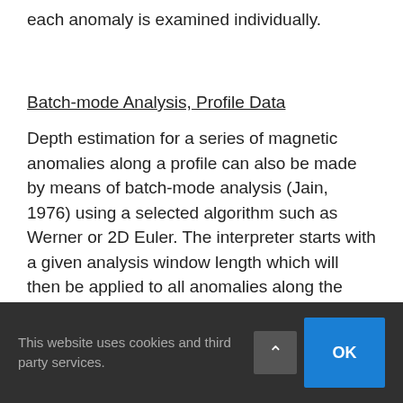windowed analysis requires time and study since each anomaly is examined individually.
Batch-mode Analysis, Profile Data
Depth estimation for a series of magnetic anomalies along a profile can also be made by means of batch-mode analysis (Jain, 1976) using a selected algorithm such as Werner or 2D Euler. The interpreter starts with a given analysis window length which will then be applied to all anomalies along the profile, regardless of their actual wavelength. The set of depth estimates to be calculated are governed by that selected window or assumed wavelength. Multiple passes, using wider and wider windows, must then be made to
This website uses cookies and third party services.